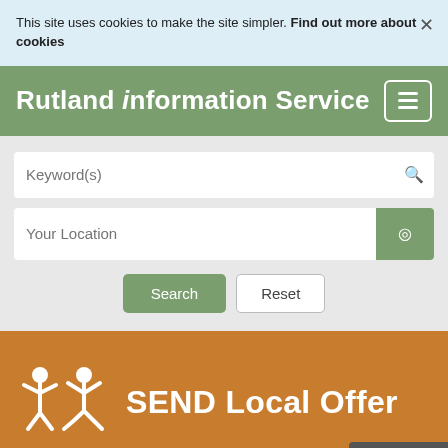This site uses cookies to make the site simpler. Find out more about cookies
Rutland information Service
[Figure (screenshot): Search form with Keyword(s) input field, Your Location input field with location pin button, and Search/Reset buttons]
SEND Local Offer
Rutland information